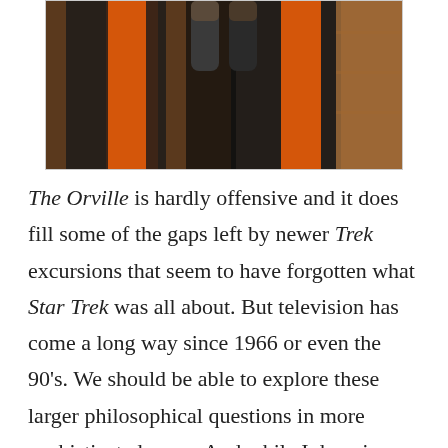[Figure (photo): Two people wearing black and orange uniforms, holding black cylindrical objects, standing against a wooden background.]
The Orville is hardly offensive and it does fill some of the gaps left by newer Trek excursions that seem to have forgotten what Star Trek was all about. But television has come a long way since 1966 or even the 90’s. We should be able to explore these larger philosophical questions in more sophisticated ways. And while I do enjoy feeling as though I’m transported back to The Next Generation, there is...